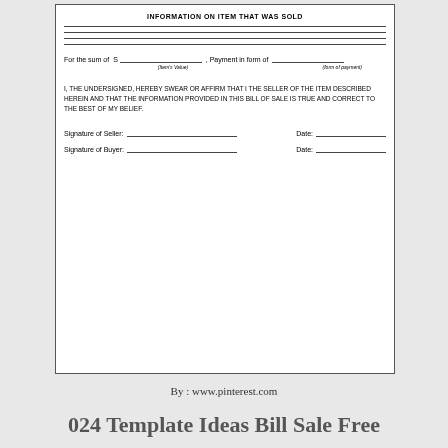INFORMATION ON ITEM THAT WAS SOLD
For the sum of  S _________________ , Payment in form of ___________________
I, THE UNDERSIGNED, HEREBY SWEAR OR AFFIRM THAT I THE SELLER OF THE ITEM DESCRIBED HEREIN AND THAT THE INFORMATION PROVIDED IN THIS BILL OF SALE IS TRUE AND CORRECT TO THE BEST OF MY BELIEF.
Signature of Seller: _________________    Date: _________________
Signature of Buyer: _________________    Date: _________________
By : www.pinterest.com
024 Template Ideas Bill Sale Free